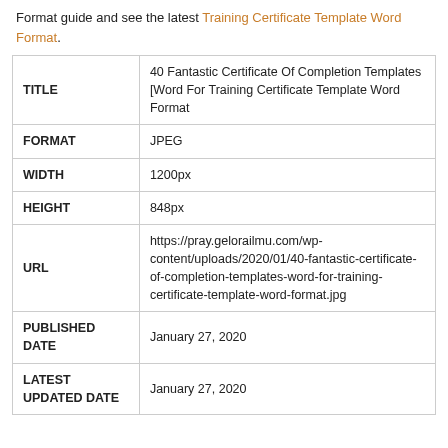Format guide and see the latest Training Certificate Template Word Format.
| Field | Value |
| --- | --- |
| TITLE | 40 Fantastic Certificate Of Completion Templates [Word For Training Certificate Template Word Format |
| FORMAT | JPEG |
| WIDTH | 1200px |
| HEIGHT | 848px |
| URL | https://pray.gelorailmu.com/wp-content/uploads/2020/01/40-fantastic-certificate-of-completion-templates-word-for-training-certificate-template-word-format.jpg |
| PUBLISHED DATE | January 27, 2020 |
| LATEST UPDATED DATE | January 27, 2020 |